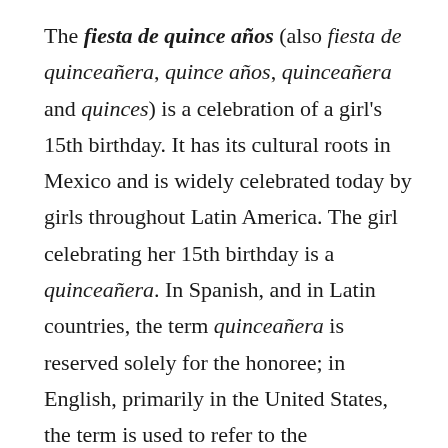The fiesta de quince años (also fiesta de quinceañera, quince años, quinceañera and quinces) is a celebration of a girl's 15th birthday. It has its cultural roots in Mexico and is widely celebrated today by girls throughout Latin America. The girl celebrating her 15th birthday is a quinceañera. In Spanish, and in Latin countries, the term quinceañera is reserved solely for the honoree; in English, primarily in the United States, the term is used to refer to the celebrations and honors surrounding the occasion.